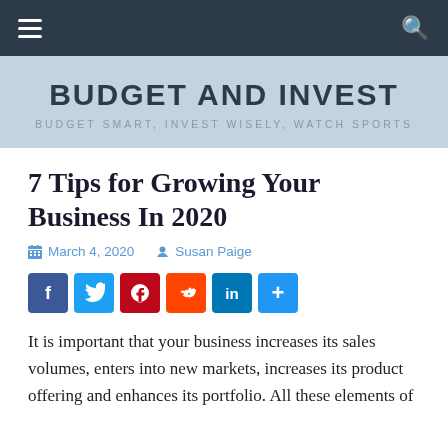Budget and Invest — Budget Smart, Invest Wisely, Watch Sports
7 Tips for Growing Your Business In 2020
March 4, 2020  Susan Paige
[Figure (infographic): Social share buttons: Facebook, Twitter, Pinterest, Reddit, LinkedIn, Share]
It is important that your business increases its sales volumes, enters into new markets, increases its product offering and enhances its portfolio. All these elements of